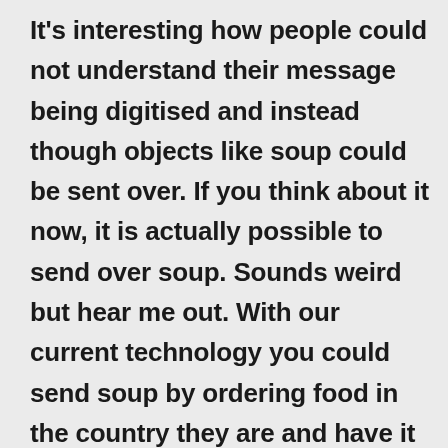It's interesting how people could not understand their message being digitised and instead though objects like soup could be sent over. If you think about it now, it is actually possible to send over soup. Sounds weird but hear me out. With our current technology you could send soup by ordering food in the country they are and have it sent to their door step. Only downfall would be that they would have to pay for it themselves